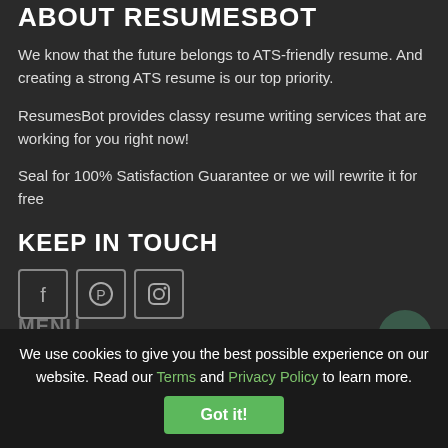ABOUT RESUMESBOT
We know that the future belongs to ATS-friendly resume. And creating a strong ATS resume is our top priority.
ResumesBot provides classy resume writing services that are working for you right now!
Seal for 100% Satisfaction Guarantee or we will rewrite it for free
KEEP IN TOUCH
[Figure (other): Social media icons: Facebook, Pinterest, Instagram in bordered boxes]
We use cookies to give you the best possible experience on our website. Read our Terms and Privacy Policy to learn more.
MENU
Resume Writing Services